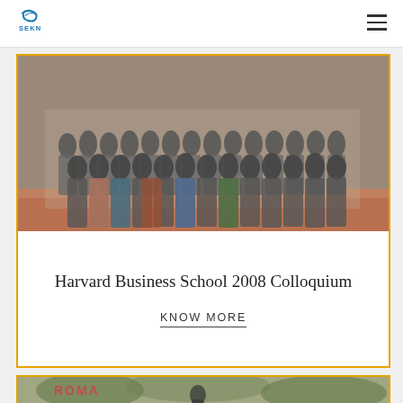SEKN navigation header with logo and hamburger menu
[Figure (photo): Group photo of approximately 30 people standing in rows outdoors at Harvard Business School 2008 Colloquium]
Harvard Business School 2008 Colloquium
KNOW MORE
[Figure (photo): Partial view of a second card showing a building exterior with ivy, partially cropped at bottom of page]